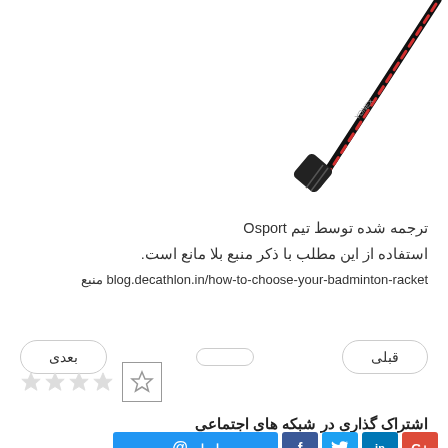[Figure (photo): Badminton racket handle and shaft shown diagonally from top-right corner, black and red colored]
ترجمه شده توسط تیم Osport
استفاده از این مطلب با ذکر منبع بلا مانع است.
منبع blog.decathlon.in/how-to-choose-your-badminton-racket
قبلی   بعدی
[Figure (other): Star rating widget: one outlined star in a box and four small light grey stars]
اشتراک گذاری در شبکه های اجتماعی
ایمیل  f  t  in  G+